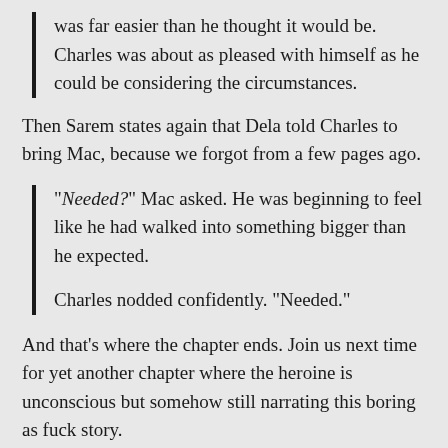was far easier than he thought it would be. Charles was about as pleased with himself as he could be considering the circumstances.
Then Sarem states again that Dela told Charles to bring Mac, because we forgot from a few pages ago.
“Needed?” Mac asked. He was beginning to feel like he had walked into something bigger than he expected.
Charles nodded confidently. “Needed.”
And that’s where the chapter ends. Join us next time for yet another chapter where the heroine is unconscious but somehow still narrating this boring as fuck story.